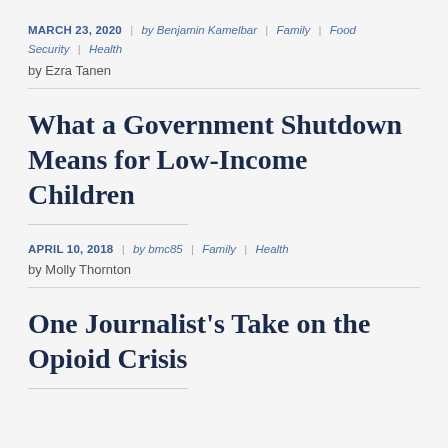MARCH 23, 2020 | by Benjamin Kamelbar | Family | Food Security | Health
by Ezra Tanen
What a Government Shutdown Means for Low-Income Children
APRIL 10, 2018 | by bmc85 | Family | Health
by Molly Thornton
One Journalist's Take on the Opioid Crisis